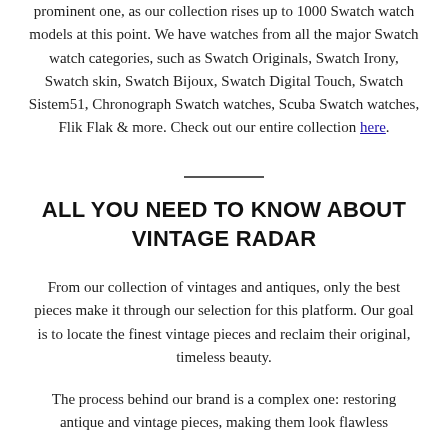prominent one, as our collection rises up to 1000 Swatch watch models at this point. We have watches from all the major Swatch watch categories, such as Swatch Originals, Swatch Irony, Swatch skin, Swatch Bijoux, Swatch Digital Touch, Swatch Sistem51, Chronograph Swatch watches, Scuba Swatch watches, Flik Flak & more. Check out our entire collection here.
ALL YOU NEED TO KNOW ABOUT VINTAGE RADAR
From our collection of vintages and antiques, only the best pieces make it through our selection for this platform. Our goal is to locate the finest vintage pieces and reclaim their original, timeless beauty.
The process behind our brand is a complex one: restoring antique and vintage pieces, making them look flawless